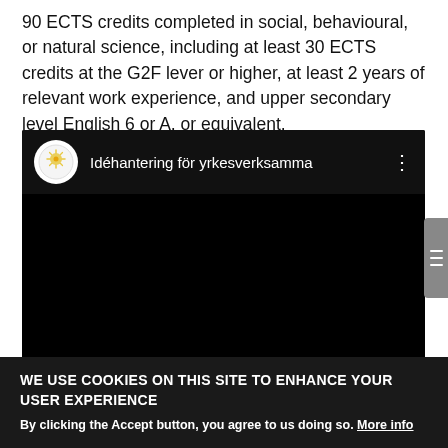90 ECTS credits completed in social, behavioural, or natural science, including at least 30 ECTS credits at the G2F lever or higher, at least 2 years of relevant work experience, and upper secondary level English 6 or A, or equivalent.
[Figure (screenshot): Embedded video player with black background showing title 'Idéhantering för yrkesverksamma' with a circular logo on the left and a three-dot menu icon on the right. A 'Privacy settings' button overlay is visible at the bottom.]
WE USE COOKIES ON THIS SITE TO ENHANCE YOUR USER EXPERIENCE
By clicking the Accept button, you agree to us doing so. More info